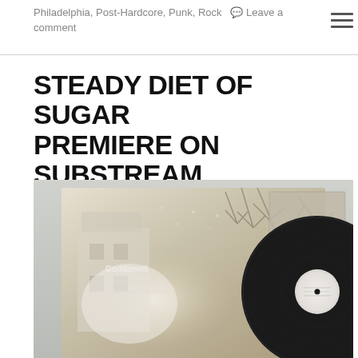Philadelphia, Post-Hardcore, Punk, Rock  ■ Leave a comment
STEADY DIET OF SUGAR PREMIERE ON SUBSTREAM
[Figure (photo): A vinyl record with album artwork for 'Goddamnit - I'll Never Be Okay / I'll Never Be The Same', showing the record sleeve with a wintry outdoor scene and the vinyl disc partially visible beside it.]